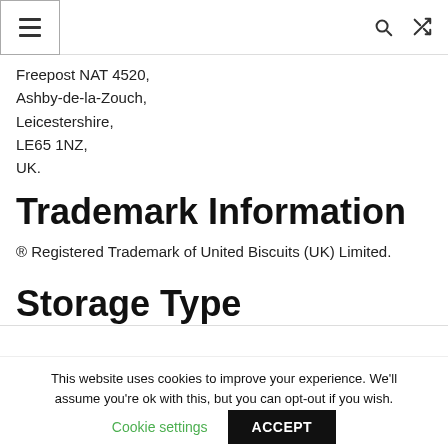Navigation bar with menu button, search icon, and shuffle icon
Freepost NAT 4520,
Ashby-de-la-Zouch,
Leicestershire,
LE65 1NZ,
UK.
Trademark Information
® Registered Trademark of United Biscuits (UK) Limited.
Storage Type
This website uses cookies to improve your experience. We'll assume you're ok with this, but you can opt-out if you wish.
Cookie settings    ACCEPT